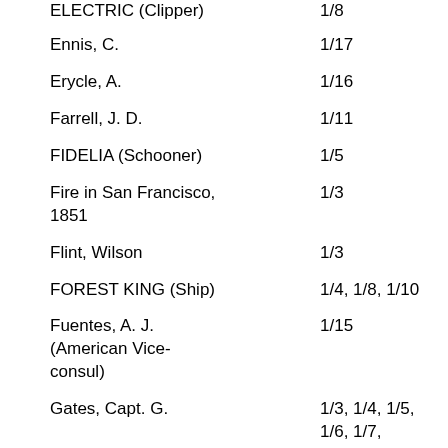ELECTRIC (Clipper)    1/8
Ennis, C.    1/17
Erycle, A.    1/16
Farrell, J. D.    1/11
FIDELIA (Schooner)    1/5
Fire in San Francisco, 1851    1/3
Flint, Wilson    1/3
FOREST KING (Ship)    1/4, 1/8, 1/10
Fuentes, A. J. (American Vice-consul)    1/15
Gates, Capt. G.    1/3, 1/4, 1/5, 1/6, 1/7, 1/8
GEORGIA    1/12